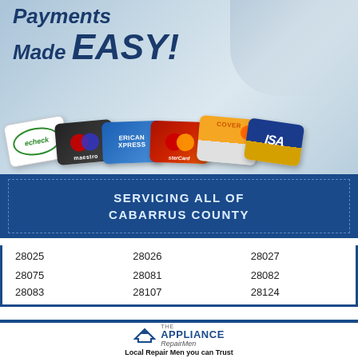[Figure (illustration): Payments Made EASY! banner with payment method cards: echeck, Maestro, American Express, MasterCard, Discover, Visa fanned out on a light blue gradient background]
SERVICING ALL OF CABARRUS COUNTY
| 28025 | 28026 | 28027 |
| 28075 | 28081 | 28082 |
| 28083 | 28107 | 28124 |
[Figure (logo): The Appliance RepairMen logo with a house roof icon]
Local Repair Men you can Trust